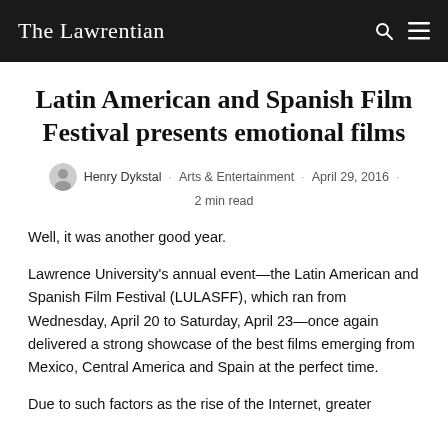The Lawrentian
Latin American and Spanish Film Festival presents emotional films
Henry Dykstal · Arts & Entertainment · April 29, 2016 · 2 min read
Well, it was another good year.
Lawrence University's annual event—the Latin American and Spanish Film Festival (LULASFF), which ran from Wednesday, April 20 to Saturday, April 23—once again delivered a strong showcase of the best films emerging from Mexico, Central America and Spain at the perfect time.
Due to such factors as the rise of the Internet, greater